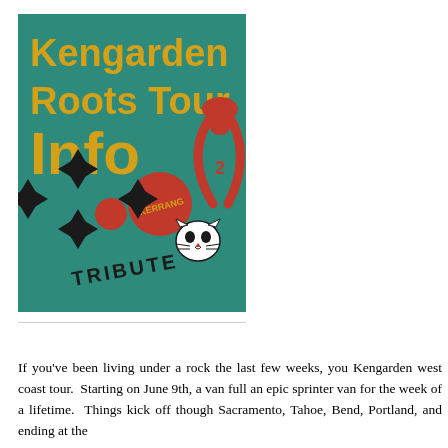[Figure (illustration): Poster with teal/green background showing 'Kengarden Roots Tour Info' text in bold gold/yellow font, with decorative graphic elements including a red circle, black bow-tie/star shapes, a telephone icon in red, a red circle with 'Kerrang' text, a white cat face icon, and 'TRIBUTE' text in dark letters.]
If you've been living under a rock the last few weeks, you Kengarden west coast tour.  Starting on June 9th, a van full an epic sprinter van for the week of a lifetime.  Things kick off though Sacramento, Tahoe, Bend, Portland, and ending at the